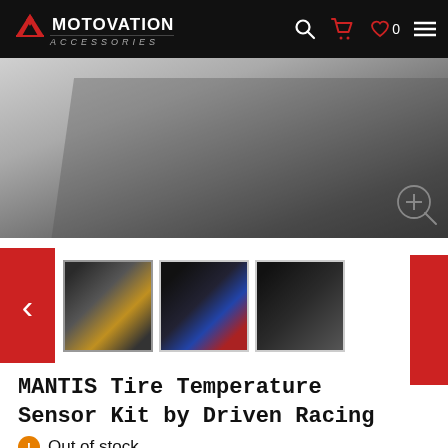Motovation Accessories
[Figure (photo): Main product photo showing a dark/grey box containing the MANTIS Tire Temperature Sensor Kit components with a zoom/magnify button overlay in the corner]
[Figure (photo): Thumbnail 1: Open kit box showing sensor components with orange elements]
[Figure (photo): Thumbnail 2: Sensor mounted on motorcycle handlebars with blue lighting]
[Figure (photo): Thumbnail 3: Close-up of the black MANTIS sensor device]
MANTIS Tire Temperature Sensor Kit by Driven Racing
Out of stock
Ask a question (0)
★★★★★